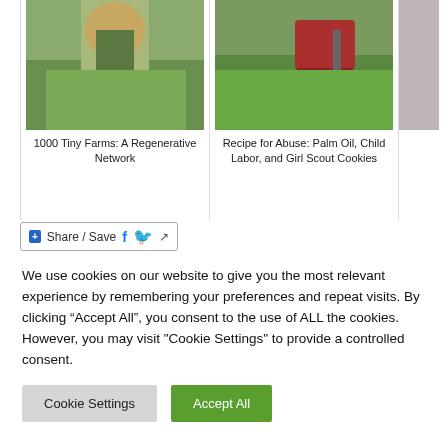[Figure (photo): Photo of person harvesting crops in a green field with a basket]
1000 Tiny Farms: A Regenerative Network
[Figure (photo): Photo of person with a red wheelbarrow among green plants]
Recipe for Abuse: Palm Oil, Child Labor, and Girl Scout Cookies
[Figure (photo): Partial photo on right edge, cropped]
Share / Save
We use cookies on our website to give you the most relevant experience by remembering your preferences and repeat visits. By clicking “Accept All”, you consent to the use of ALL the cookies. However, you may visit "Cookie Settings" to provide a controlled consent.
Cookie Settings
Accept All